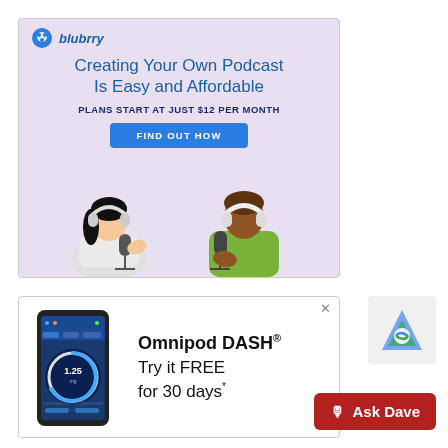[Figure (illustration): Blubrry podcast advertisement banner showing two illustrated people with headphones and microphones. Blue text reads 'Creating Your Own Podcast Is Easy and Affordable'. Bold navy text: 'PLANS START AT JUST $12 PER MONTH'. Blue CTA button 'FIND OUT HOW'.]
[Figure (illustration): Omnipod DASH advertisement showing a smartphone with 1.25 displayed on a circular meter. Text reads 'Omnipod DASH® Try it FREE for 30 days*'. Close X button top right.]